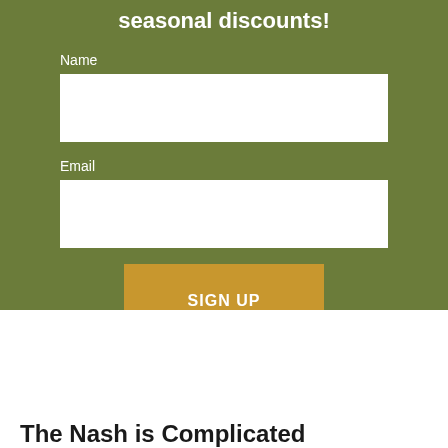seasonal discounts!
Name
[Figure (other): Name input field (empty white text box)]
Email
[Figure (other): Email input field (empty white text box)]
SIGN UP
The Nash is Complicated